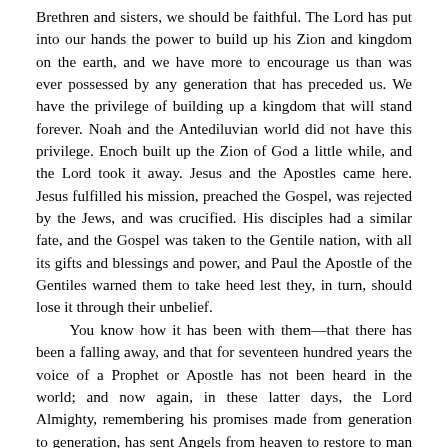Brethren and sisters, we should be faithful. The Lord has put into our hands the power to build up his Zion and kingdom on the earth, and we have more to encourage us than was ever possessed by any generation that has preceded us. We have the privilege of building up a kingdom that will stand forever. Noah and the Antediluvian world did not have this privilege. Enoch built up the Zion of God a little while, and the Lord took it away. Jesus and the Apostles came here. Jesus fulfilled his mission, preached the Gospel, was rejected by the Jews, and was crucified. His disciples had a similar fate, and the Gospel was taken to the Gentile nation, with all its gifts and blessings and power, and Paul the Apostle of the Gentiles warned them to take heed lest they, in turn, should lose it through their unbelief. You know how it has been with them—that there has been a falling away, and that for seventeen hundred years the voice of a Prophet or Apostle has not been heard in the world; and now again, in these latter days, the Lord Almighty, remembering his promises made from generation to generation, has sent Angels from heaven to restore to man the Gospel and has given authority to administer the same. The Revelator John, says he saw